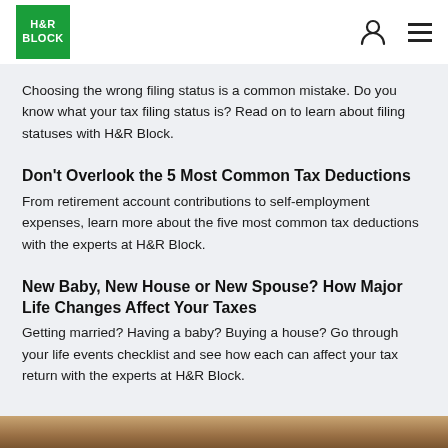H&R BLOCK
Choosing the wrong filing status is a common mistake. Do you know what your tax filing status is? Read on to learn about filing statuses with H&R Block.
Don't Overlook the 5 Most Common Tax Deductions
From retirement account contributions to self-employment expenses, learn more about the five most common tax deductions with the experts at H&R Block.
New Baby, New House or New Spouse? How Major Life Changes Affect Your Taxes
Getting married? Having a baby? Buying a house? Go through your life events checklist and see how each can affect your tax return with the experts at H&R Block.
[Figure (photo): Partial photo at the bottom of the page, appearing to show a wooden surface or desk scene]